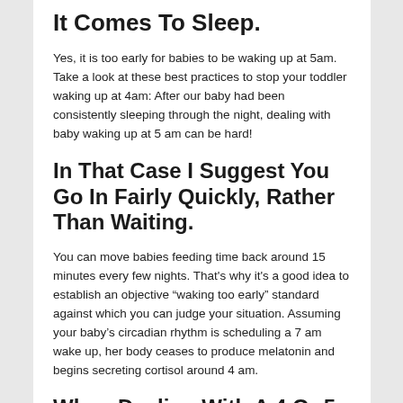It Comes To Sleep.
Yes, it is too early for babies to be waking up at 5am. Take a look at these best practices to stop your toddler waking up at 4am: After our baby had been consistently sleeping through the night, dealing with baby waking up at 5 am can be hard!
In That Case I Suggest You Go In Fairly Quickly, Rather Than Waiting.
You can move babies feeding time back around 15 minutes every few nights. That's why it's a good idea to establish an objective “waking too early” standard against which you can judge your situation. Assuming your baby’s circadian rhythm is scheduling a 7 am wake up, her body ceases to produce melatonin and begins secreting cortisol around 4 am.
When Dealing With A 4 Or 5